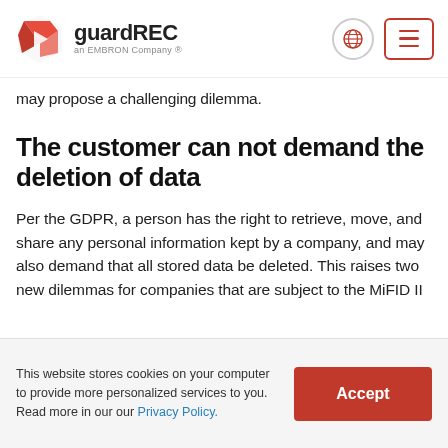guardREC — an EMBRON Company
may propose a challenging dilemma.
The customer can not demand the deletion of data
Per the GDPR, a person has the right to retrieve, move, and share any personal information kept by a company, and may also demand that all stored data be deleted. This raises two new dilemmas for companies that are subject to the MiFID II
This website stores cookies on your computer to provide more personalized services to you. Read more in our our Privacy Policy.